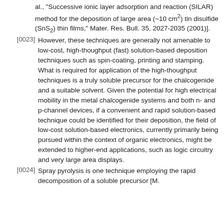al., "Successive ionic layer adsorption and reaction (SILAR) method for the deposition of large area (~10 cm²) tin disulfide (SnS₂) thin films," Mater. Res. Bull. 35, 2027-2035 (2001)].
[0023] However, these techniques are generally not amenable to low-cost, high-thoughput (fast) solution-based deposition techniques such as spin-coating, printing and stamping. What is required for application of the high-thoughput techniques is a truly soluble precursor for the chalcogenide and a suitable solvent. Given the potential for high electrical mobility in the metal chalcogenide systems and both n- and p-channel devices, if a convenient and rapid solution-based technique could be identified for their deposition, the field of low-cost solution-based electronics, currently primarily being pursued within the context of organic electronics, might be extended to higher-end applications, such as logic circuitry and very large area displays.
[0024] Spray pyrolysis is one technique employing the rapid decomposition of a soluble precursor [M.